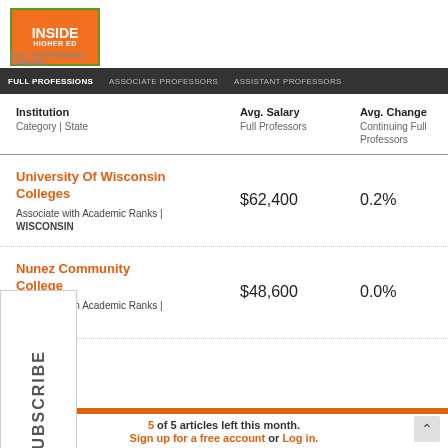Inside Higher Ed - Full Professors | Associate Professors | Assistant Professors - Careers
| Institution Category | State | Avg. Salary Full Professors | Avg. Change Continuing Full Professors |  |
| --- | --- | --- | --- |
| University Of Wisconsin Colleges | Associate with Academic Ranks | WISCONSIN | $62,400 | 0.2% |  |
| Nunez Community College | Associate with Academic Ranks | LOUISIANA | $48,600 | 0.0% |  |
5 of 5 articles left this month. Sign up for a free account or Log in.